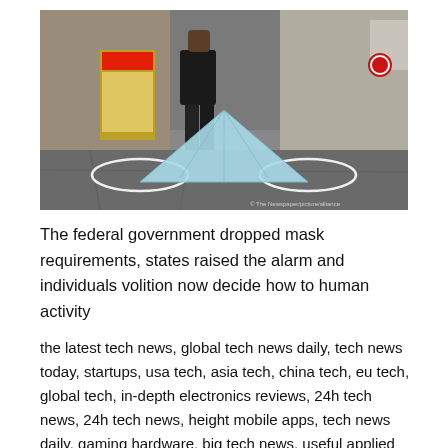[Figure (photo): A discarded face mask lying on a sidewalk pavement, propped up in a triangle shape with elastic loops spread out. In the background a person in black clothing and white shoes walks down a street.]
The federal government dropped mask requirements, states raised the alarm and individuals volition now decide how to human activity
the latest tech news, global tech news daily, tech news today, startups, usa tech, asia tech, china tech, eu tech, global tech, in-depth electronics reviews, 24h tech news, 24h tech news, height mobile apps, tech news daily, gaming hardware, big tech news, useful applied science